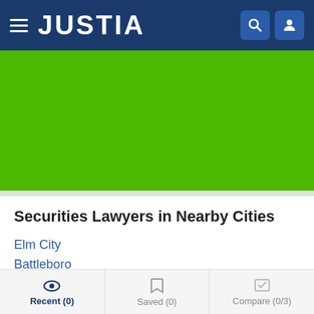JUSTIA
[Figure (screenshot): Green advertisement banner area]
Securities Lawyers in Nearby Cities
Elm City
Battleboro
Wilson
Tarboro
Nashville
Enfield
Recent (0)  Saved (0)  Compare (0/3)